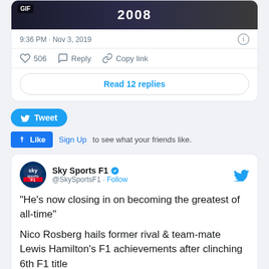[Figure (screenshot): Partial tweet card showing a GIF badge and '2008' overlay on a dark image]
9:36 PM · Nov 3, 2019
506  Reply  Copy link
Read 12 replies
Tweet
Like  Sign Up to see what your friends like.
Sky Sports F1 @SkySportsF1 · Follow
"He's now closing in on becoming the greatest of all-time"

Nico Rosberg hails former rival & team-mate Lewis Hamilton's F1 achievements after clinching 6th F1 title